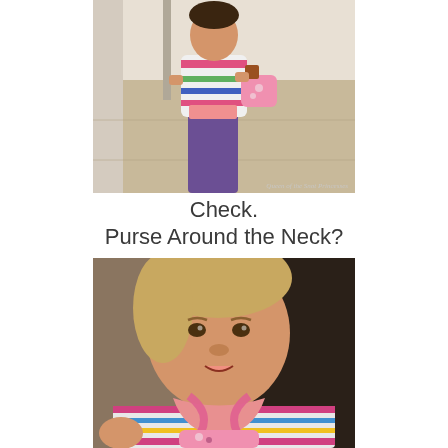[Figure (photo): Toddler girl in striped top and purple pants, holding a small pink purse, standing on tile floor indoors. Watermark reads 'Queen of the Snot Princesses'.]
Check.
Purse Around the Neck?
[Figure (photo): Close-up of a toddler girl wearing a striped sweater with a pink purse hanging around her neck, looking at camera.]